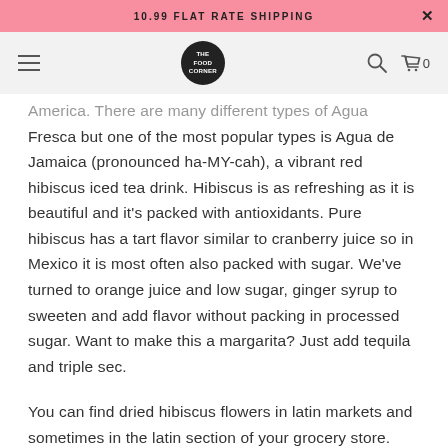10.99 FLAT RATE SHIPPING
America. There are many different types of Agua Fresca but one of the most popular types is Agua de Jamaica (pronounced ha-MY-cah), a vibrant red hibiscus iced tea drink. Hibiscus is as refreshing as it is beautiful and it's packed with antioxidants. Pure hibiscus has a tart flavor similar to cranberry juice so in Mexico it is most often also packed with sugar. We've turned to orange juice and low sugar, ginger syrup to sweeten and add flavor without packing in processed sugar. Want to make this a margarita? Just add tequila and triple sec.
You can find dried hibiscus flowers in latin markets and sometimes in the latin section of your grocery store.